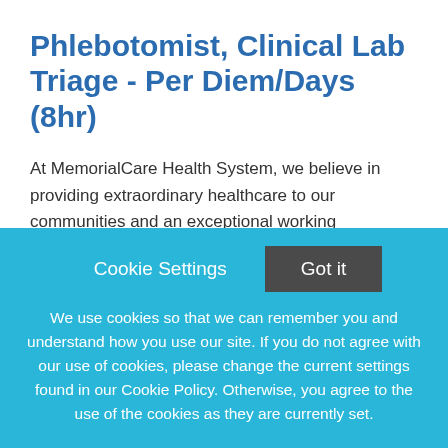Phlebotomist, Clinical Lab Triage - Per Diem/Days (8hr)
At MemorialCare Health System, we believe in providing extraordinary healthcare to our communities and an exceptional working environment for our employees. Memorial Care stands for excellence in Healthcare. Across
This job listing is no longer active.
Cookie Settings  Got it
We use cookies so that we can remember you and understand how you use our site. If you do not agree with our use of cookies, please change the current settings found in our Cookie Policy. Otherwise, you agree to the use of the cookies as they are currently set.